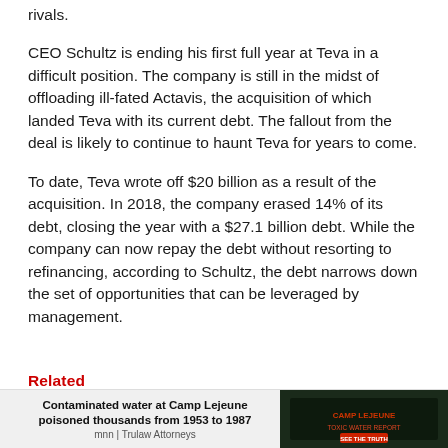rivals.
CEO Schultz is ending his first full year at Teva in a difficult position. The company is still in the midst of offloading ill-fated Actavis, the acquisition of which landed Teva with its current debt. The fallout from the deal is likely to continue to haunt Teva for years to come.
To date, Teva wrote off $20 billion as a result of the acquisition. In 2018, the company erased 14% of its debt, closing the year with a $27.1 billion debt. While the company can now repay the debt without resorting to refinancing, according to Schultz, the debt narrows down the set of opportunities that can be leveraged by management.
Related
Contaminated water at Camp Lejeune poisoned thousands from 1953 to 1987
mnn | Trulaw Attorneys